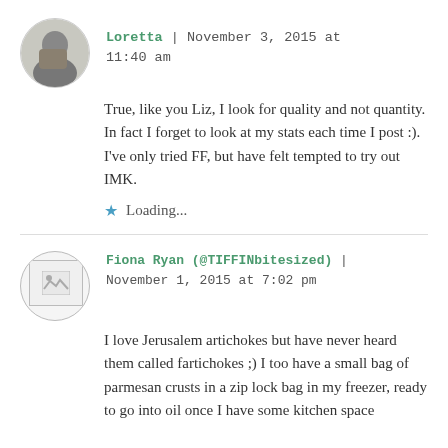Loretta | November 3, 2015 at 11:40 am
True, like you Liz, I look for quality and not quantity. In fact I forget to look at my stats each time I post :). I've only tried FF, but have felt tempted to try out IMK.
Loading...
Fiona Ryan (@TIFFINbitesized) | November 1, 2015 at 7:02 pm
I love Jerusalem artichokes but have never heard them called fartichokes ;) I too have a small bag of parmesan crusts in a zip lock bag in my freezer, ready to go into oil once I have some kitchen space